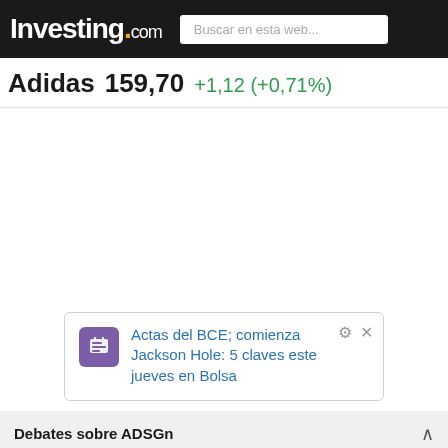Investing.com — Buscar en esta web...
Adidas  159,70  +1,12 (+0,71%)
[Figure (other): Empty white chart area placeholder]
Actas del BCE; comienza Jackson Hole: 5 claves este jueves en Bolsa
Debates sobre ADSGn